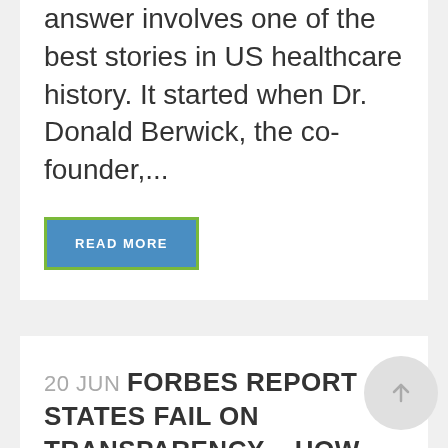answer involves one of the best stories in US healthcare history. It started when Dr. Donald Berwick, the co-founder,...
READ MORE
20 Jun FORBES REPORT STATES FAIL ON TRANSPARENCY – HOW ARE YOU DOING?